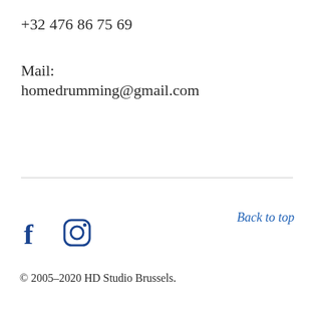+32 476 86 75 69
Mail:
homedrumming@gmail.com
Back to top
[Figure (illustration): Facebook and Instagram social media icons in dark blue]
© 2005-2020 HD Studio Brussels.